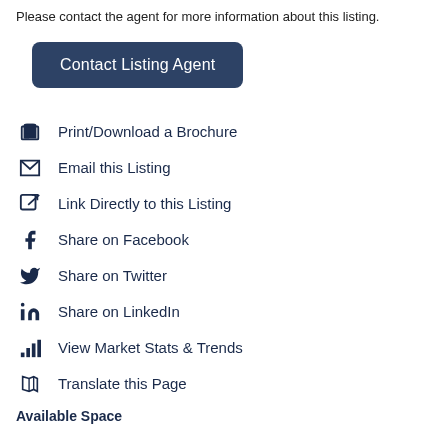Please contact the agent for more information about this listing.
Contact Listing Agent
Print/Download a Brochure
Email this Listing
Link Directly to this Listing
Share on Facebook
Share on Twitter
Share on LinkedIn
View Market Stats & Trends
Translate this Page
Available Space